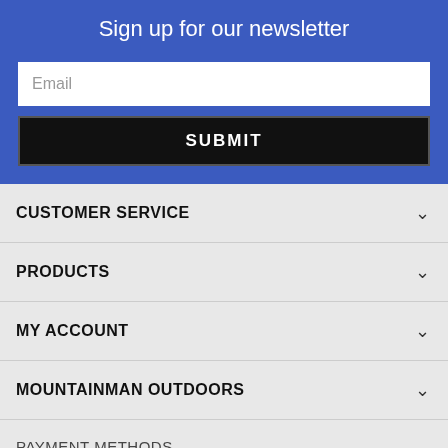Sign up for our newsletter
Email
SUBMIT
CUSTOMER SERVICE
PRODUCTS
MY ACCOUNT
MOUNTAINMAN OUTDOORS
PAYMENT METHODS
[Figure (logo): Payment method logos: Mastercard, Visa, American Express, Discover, PayPal]